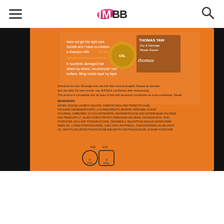IMBB logo with hamburger menu and search icon
[Figure (photo): Close-up photo of the back of an orange Sunsilk shampoo bottle showing ingredients text, directions for use, co-creation message with Thomas Taw (Dry & Damage Repair Expert) and Olive Serum Nourish Complex branding, along with a certification symbol at the bottom. Background is black.]